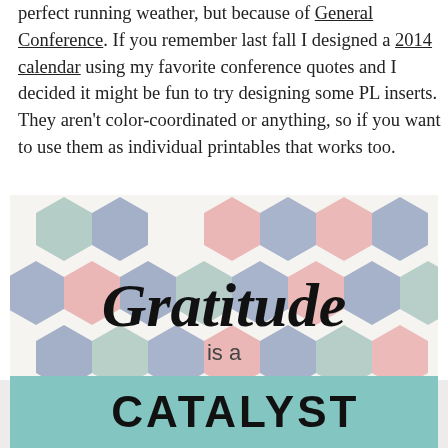perfect running weather, but because of General Conference. If you remember last fall I designed a 2014 calendar using my favorite conference quotes and I decided it might be fun to try designing some PL inserts. They aren't color-coordinated or anything, so if you want to use them as individual printables that works too.
[Figure (illustration): Decorative card with colorful hexagon pattern background in muted pink, blue-grey, and teal tones. Overlaid text reads 'Gratitude is a CATALYST' where 'Gratitude' is in large bold italic serif font, 'is a' in smaller sans-serif, and 'CATALYST' in large bold uppercase sans-serif on a teal banner ribbon.]